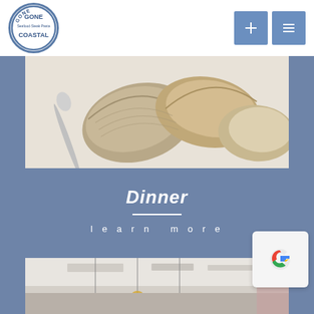[Figure (logo): Gone Coastal restaurant logo — oval badge with text 'GONE COASTAL' and 'Seafood · Steak · Pasta']
[Figure (photo): Close-up photo of clams/mussels on a white plate with a spoon]
Dinner
learn more
[Figure (photo): Interior photo of the restaurant dining room with hanging lights and white ceiling]
[Figure (logo): Google 'G' logo widget]